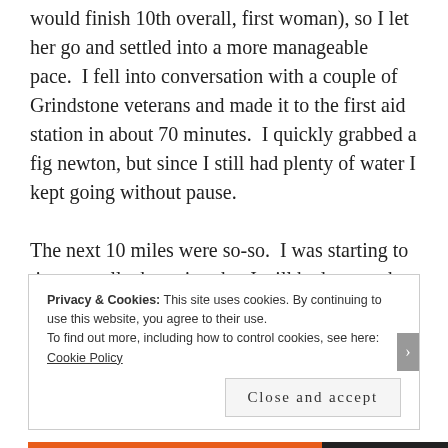would finish 10th overall, first woman), so I let her go and settled into a more manageable pace. I fell into conversation with a couple of Grindstone veterans and made it to the first aid station in about 70 minutes. I quickly grabbed a fig newton, but since I still had plenty of water I kept going without pause.

The next 10 miles were so-so. I was starting to tire mentally, knowing that I still had so much effort to go. My pace stayed steady – I'd be passed on the downhills, only to take over again on the ascents. At about mile 10 or 11, a group that included two women passed me like I was
Privacy & Cookies: This site uses cookies. By continuing to use this website, you agree to their use.
To find out more, including how to control cookies, see here: Cookie Policy
Close and accept